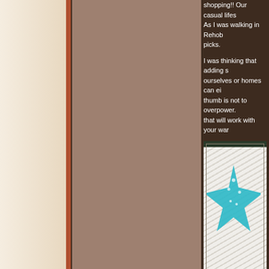shopping!!  Our casual lifes... As I was walking in Rehob... picks.
I was thinking that adding s... ourselves or homes can ei... thumb is not to overpower. that will work with your war...
[Figure (photo): A beach-themed card with a turquoise starfish on a chevron-patterned background, with 'Rehoboth' written in lime green cursive text, propped up with other items in the background.]
Remember that it is called enhance and not overshad...
No outfit is complete witho...